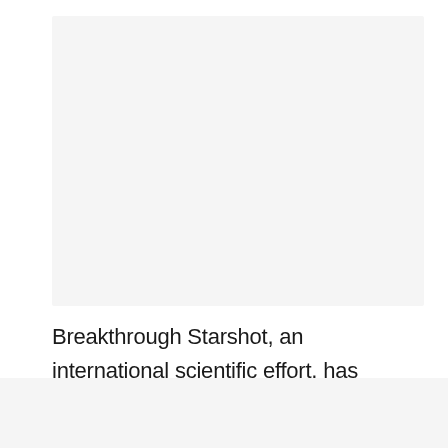[Figure (other): Light gray rectangular box occupying the upper portion of the page]
Breakthrough Starshot, an international scientific effort, has revealed their plans to launch a probe to Alpha Centauri, our nearest star system, and it can reach its destination in just 20 years.
[Figure (other): Light gray rectangular area at the bottom of the page]